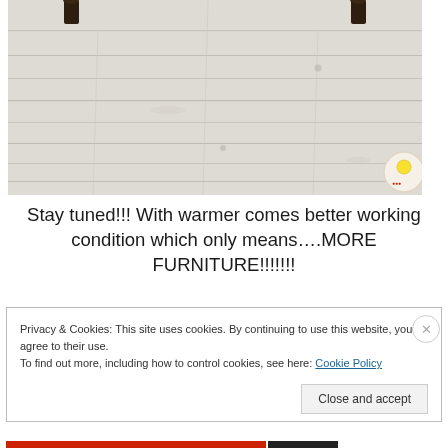[Figure (photo): Photo showing the bottom of dark wooden furniture legs (likely a table) against a whitewashed wooden plank floor. A small decorative circular item is visible in the bottom-right corner of the image.]
Stay tuned!!! With warmer comes better working condition which only means….MORE FURNITURE!!!!!!!
Privacy & Cookies: This site uses cookies. By continuing to use this website, you agree to their use.
To find out more, including how to control cookies, see here: Cookie Policy
Close and accept